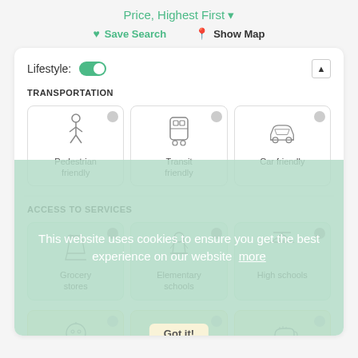Price, Highest First ▼
♥ Save Search   📍 Show Map
Lifestyle: [toggle on]
TRANSPORTATION
Pedestrian friendly | Transit friendly | Car friendly
ACCESS TO SERVICES
Grocery stores | Elementary schools | High schools
Daycares | Restaurants | Coffee Shops
This website uses cookies to ensure you get the best experience on our website   more
Got it!